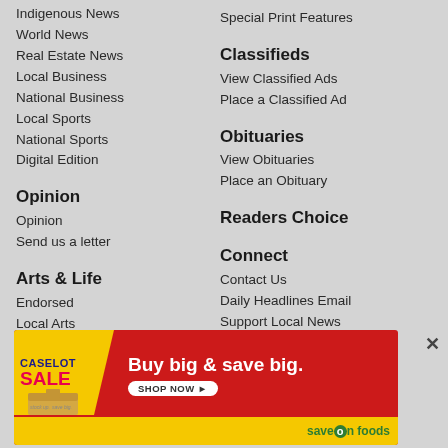Indigenous News
World News
Real Estate News
Local Business
National Business
Local Sports
National Sports
Digital Edition
Opinion
Opinion
Send us a letter
Arts & Life
Endorsed
Local Arts
Living
Driving
Automotive
Special Print Features
Classifieds
View Classified Ads
Place a Classified Ad
Obituaries
View Obituaries
Place an Obituary
Readers Choice
Connect
Contact Us
Daily Headlines Email
Support Local News
[Figure (infographic): Save-On Foods Caselot Sale advertisement: red background with yellow badge showing 'CASELOT SALE', headline 'Buy big & save big.', SHOP NOW button, and Save-On Foods logo on yellow bottom bar.]